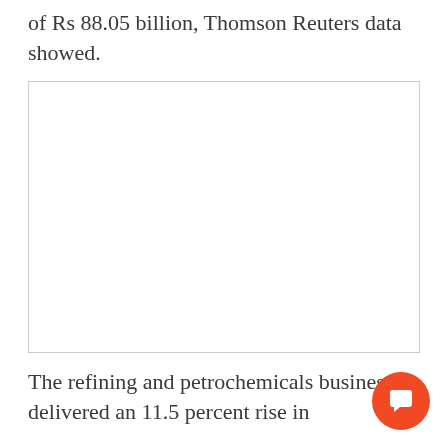of Rs 88.05 billion, Thomson Reuters data showed.
[Figure (other): Empty white rectangular placeholder box with a light gray border, possibly an advertisement or image space.]
The refining and petrochemicals businesses delivered an 11.5 percent rise in